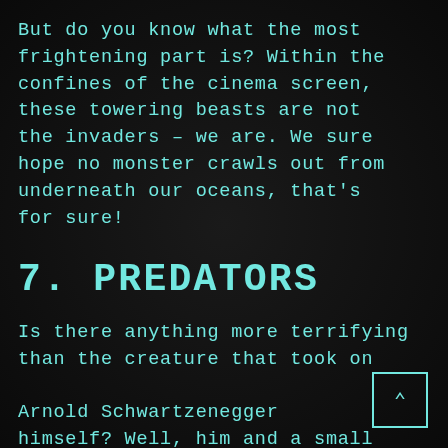But do you know what the most frightening part is? Within the confines of the cinema screen, these towering beasts are not the invaders – we are. We sure hope no monster crawls out from underneath our oceans, that's for sure!
7. PREDATORS
Is there anything more terrifying than the creature that took on Arnold Schwartzenegger himself? Well, him and a small army! Do we even have to say